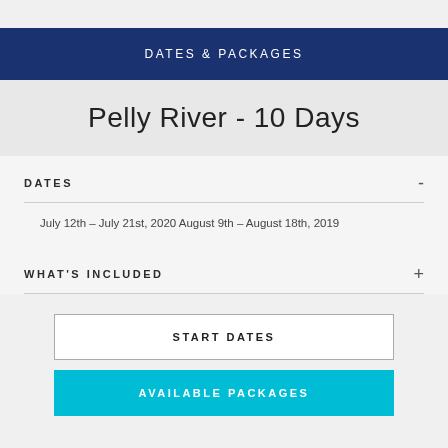DATES & PACKAGES
Pelly River - 10 Days
DATES
July 12th – July 21st, 2020 August 9th – August 18th, 2019
WHAT'S INCLUDED
START DATES
AVAILABLE PACKAGES